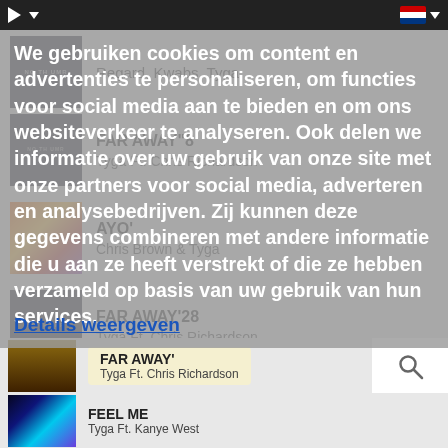Music player top bar with play button and Dutch flag
Regard, Kwabs, Tyga
FAR AWAY"8
Tyga Ft. Chris Richardson
AYO'
Chris Brown & Tyga
FAR AWAY'28
Tyga Ft. Chris Richardson
We gebruiken cookies om content en advertenties te personaliseren, om functies voor social media aan te bieden en om ons websiteverkeer te analyseren. Ook delen we informatie over uw gebruik van onze site met onze partners voor social media, adverteren en analysebedrijven. Zij kunnen deze gegevens combineren met andere informatie die u aan ze heeft verstrekt of die ze hebben verzameld op basis van uw gebruik van hun services.
Details weergeven
FAR AWAY'
Tyga Ft. Chris Richardson
FEEL ME
Tyga Ft. Kanye West